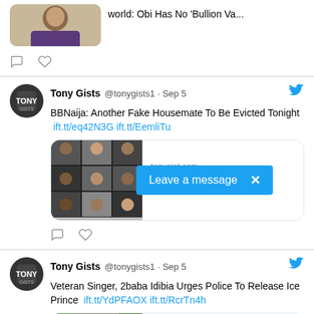[Figure (screenshot): Partial tweet card at top showing a thumbnail image of a man and truncated text 'world: Obi Has No Bullion Va...' with comment and like icons below]
[Figure (screenshot): Tweet by Tony Gists @tonygists1 Sep 5: BBNaija: Another Fake Housemate To Be Evicted Tonight with link ift.tt/eq42N3G ift.tt/EemliTu, link card showing BBNaija housemates grid photo from tonygist.com with 'Leave a message' overlay popup in blue]
[Figure (screenshot): Tweet by Tony Gists @tonygists1 Sep 5: Veteran Singer, 2baba Idibia Urges Police To Release Ice Prince with links ift.tt/YdPFAOX ift.tt/RcrTn4h, partial link card showing two men from tonygist.com, scroll-to-top button in bottom right]